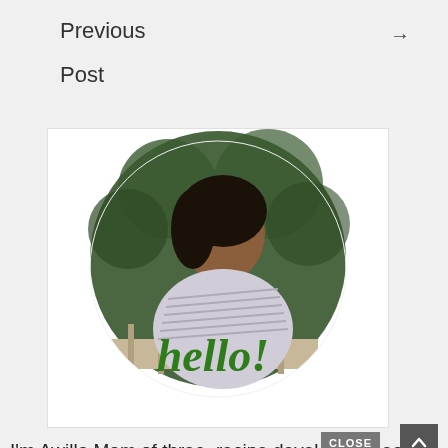Previous
Post →
[Figure (photo): A woman with dark hair wearing a striped shirt, shown in a circular crop with green foliage in the background. A cursive 'hello!' text overlay in green is displayed at the bottom of the photo.]
I'm Awilla Mom of three, recipe developer, meal planner, and home baker. This blog is a place where...
CLOSE